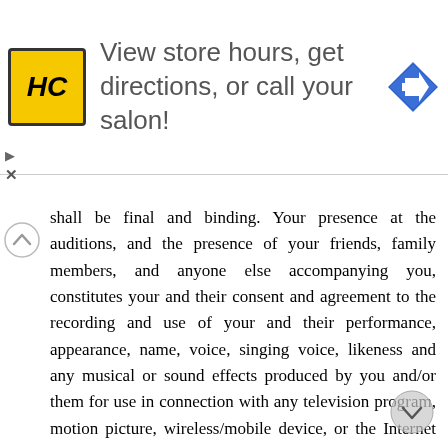[Figure (infographic): Advertisement banner for a salon/hair care brand (HC logo in yellow square) with text 'View store hours, get directions, or call your salon!' and a blue navigation/directions arrow icon on the right.]
shall be final and binding. Your presence at the auditions, and the presence of your friends, family members, and anyone else accompanying you, constitutes your and their consent and agreement to the recording and use of your and their performance, appearance, name, voice, singing voice, likeness and any musical or sound effects produced by you and/or them for use in connection with any television program, motion picture, wireless/mobile device, or the Internet (including, without limitation, on the Program website located at applications, and related services (collectively, the Website)), for all purposes (including advertising, marketing, promotion, merchandising and the exploitation of any and all ancillary and subsidiary rights), as the same may be edited, in all media now known or hereafter created, throughout the universe, in perpetuity for no compensation, unless otherwise required by law. IF YOU AND/OR YOUR FRIENDS, FAMILY MEMBERS, OR ANYONE ELSE